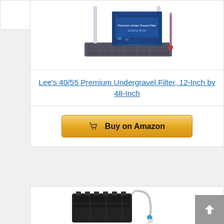[Figure (photo): Lee's 40/55 Premium Undergravel Filter product photo showing the filter plate with uplift tubes and product box]
Lee's 40/55 Premium Undergravel Filter, 12-Inch by 48-Inch
[Figure (other): Buy on Amazon button with shopping cart icon]
Bestseller No. 7
[Figure (photo): Aquarium undergravel filter product photo showing black filter tray and siphon tube]